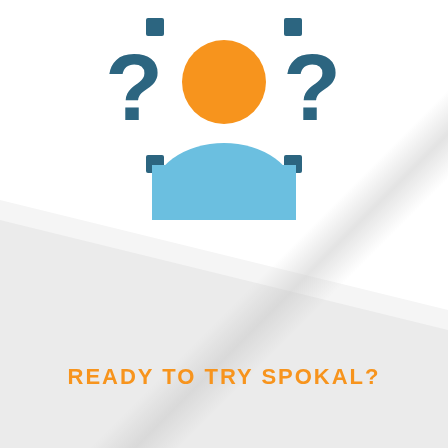[Figure (illustration): An anonymous person icon (orange circle head, light blue body/shoulders) flanked by two dark teal question marks with small square dots above and below each mark, on a white background with a diagonal fold/shadow effect.]
READY TO TRY SPOKAL?